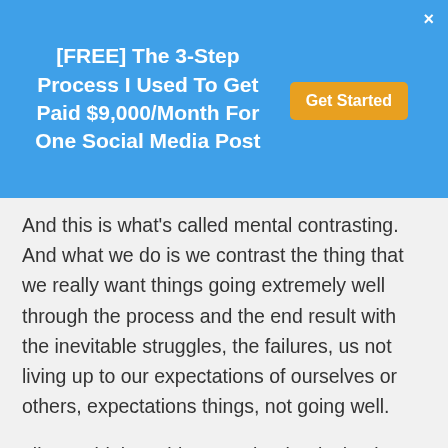[FREE] The 3-Step Process I Used To Get Paid $9,000/Month For One Social Media Post  Get Started  ×
And this is what's called mental contrasting. And what we do is we contrast the thing that we really want things going extremely well through the process and the end result with the inevitable struggles, the failures, us not living up to our expectations of ourselves or others, expectations things, not going well.
Like I said, launching Facebook ads, having them bomb, having our accounts shut down, having our